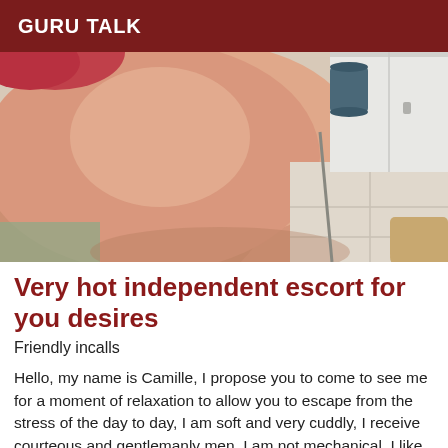GURU TALK
[Figure (photo): A photograph showing a person's body in an indoor setting with tile floor and white cabinet/wardrobe in the background.]
Very hot independent escort for you desires
Friendly incalls
Hello, my name is Camille, I propose you to come to see me for a moment of relaxation to allow you to escape from the stress of the day to day, I am soft and very cuddly, I receive courteous and gentlemanly men, I am not mechanical, I like to take my time... Don't hesitate to